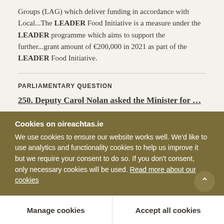Groups (LAG) which deliver funding in accordance with Local...The LEADER Food Initiative is a measure under the LEADER programme which aims to support the further...grant amount of €200,000 in 2021 as part of the LEADER Food Initiative.
PARLIAMENTARY QUESTION
250. Deputy Carol Nolan asked the Minister for …
https://www.oireachtas.ie/en/debates/question/...
Wed, 9 Mar 2022 - Minister for Rural and Community Development I propose to take Questions Nos. 249 and 250
Cookies on oireachtas.ie
We use cookies to ensure our website works well. We'd like to use analytics and functionality cookies to help us improve it but we require your consent to do so. If you don't consent, only necessary cookies will be used. Read more about our cookies
Manage cookies
Accept all cookies